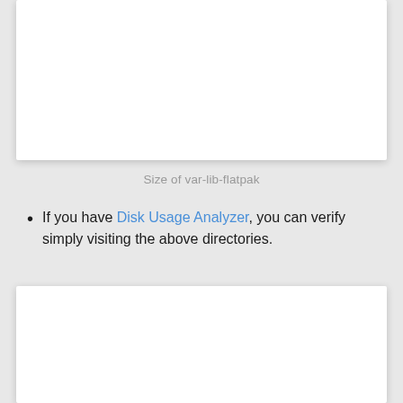[Figure (screenshot): White card area at top of page, showing partial screenshot content]
Size of var-lib-flatpak
If you have Disk Usage Analyzer, you can verify simply visiting the above directories.
[Figure (screenshot): White card area at bottom of page, showing partial screenshot content]